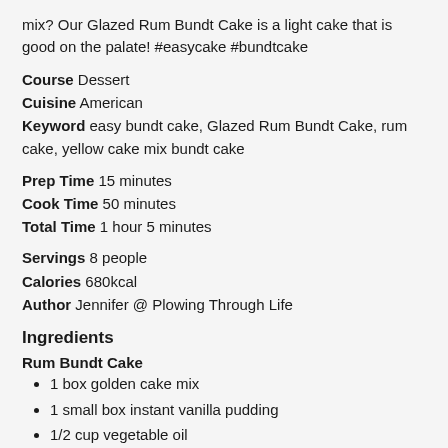mix?  Our Glazed Rum Bundt Cake is a light cake that is good on the palate! #easycake #bundtcake
Course  Dessert
Cuisine  American
Keyword  easy bundt cake, Glazed Rum Bundt Cake, rum cake, yellow cake mix bundt cake
Prep Time  15 minutes
Cook Time  50 minutes
Total Time  1 hour 5 minutes
Servings  8 people
Calories  680kcal
Author  Jennifer @ Plowing Through Life
Ingredients
Rum Bundt Cake
1 box golden cake mix
1 small box instant vanilla pudding
1/2 cup vegetable oil
1/2 cup light rum